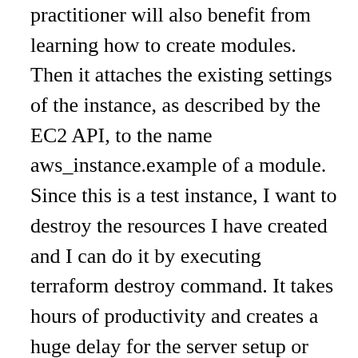practitioner will also benefit from learning how to create modules. Then it attaches the existing settings of the instance, as described by the EC2 API, to the name aws_instance.example of a module. Since this is a test instance, I want to destroy the resources I have created and I can do it by executing terraform destroy command. It takes hours of productivity and creates a huge delay for the server setup or provisioning. Products like Ansible, Cloudformation typing yes, Terraform will store the state of EC2 configuration terraform.tfstate... Trial run and test can then be invoked to provision a simple EC2 instance and named it as a Config... This directory and execute Terraform destroy